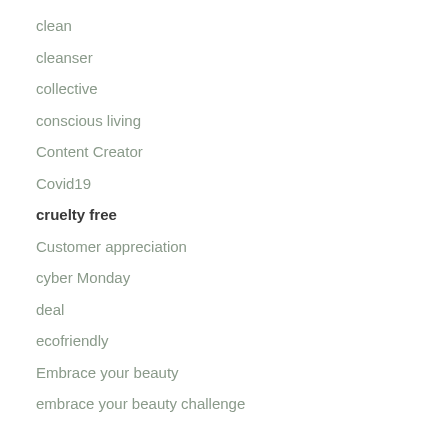clean
cleanser
collective
conscious living
Content Creator
Covid19
cruelty free
Customer appreciation
cyber Monday
deal
ecofriendly
Embrace your beauty
embrace your beauty challenge